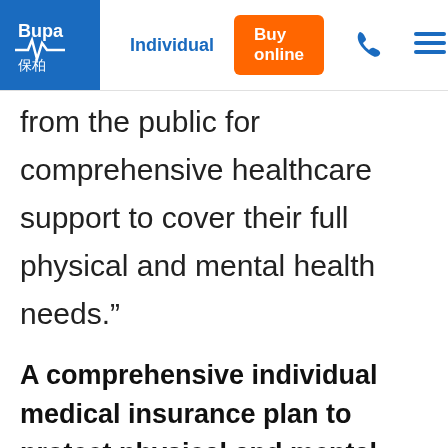Bupa 保柏 | Individual | Buy online
from the public for comprehensive healthcare support to cover their full physical and mental health needs.”
A comprehensive individual medical insurance plan to protect physical and mental health
Bupa Hero VHIS Plan is specially designed to address people's concerns